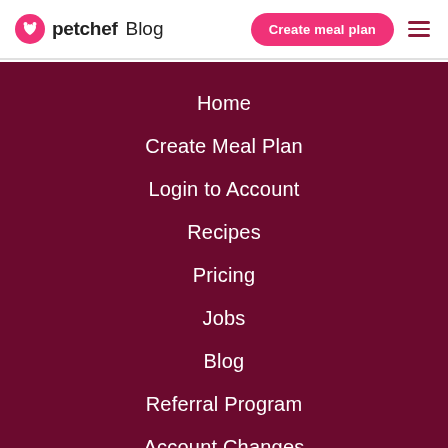petchef Blog | Create meal plan
Home
Create Meal Plan
Login to Account
Recipes
Pricing
Jobs
Blog
Referral Program
Account Changes